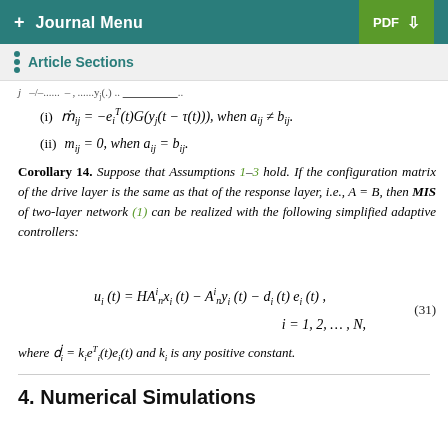+ Journal Menu    PDF ↓
Article Sections
j  –/–......  –  ,  ......y(.) .. ------  -- ----  ...
Corollary 14. Suppose that Assumptions 1–3 hold. If the configuration matrix of the drive layer is the same as that of the response layer, i.e., A = B, then MIS of two-layer network (1) can be realized with the following simplified adaptive controllers:
where d_i = k_i e_i^T(t)e_i(t) and k_i is any positive constant.
4. Numerical Simulations